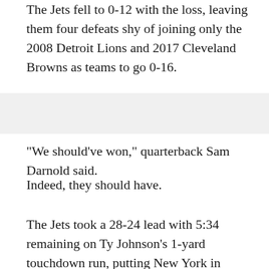The Jets fell to 0-12 with the loss, leaving them four defeats shy of joining only the 2008 Detroit Lions and 2017 Cleveland Browns as teams to go 0-16.
"We should've won," quarterback Sam Darnold said.
Indeed, they should have.
The Jets took a 28-24 lead with 5:34 remaining on Ty Johnson's 1-yard touchdown run, putting New York in position to finally get rid of that ugly zero in their win column.
Then the defense came up with a fourth-down stop that appeared to all but end the Jets' agonizing wait for a victory.